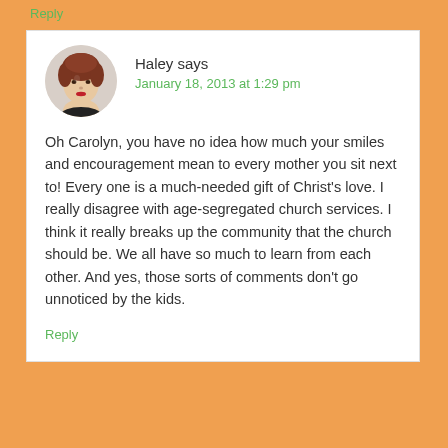Reply
[Figure (photo): Circular avatar photo of a woman with short reddish-brown hair and red lipstick]
Haley says
January 18, 2013 at 1:29 pm
Oh Carolyn, you have no idea how much your smiles and encouragement mean to every mother you sit next to! Every one is a much-needed gift of Christ's love. I really disagree with age-segregated church services. I think it really breaks up the community that the church should be. We all have so much to learn from each other. And yes, those sorts of comments don't go unnoticed by the kids.
Reply